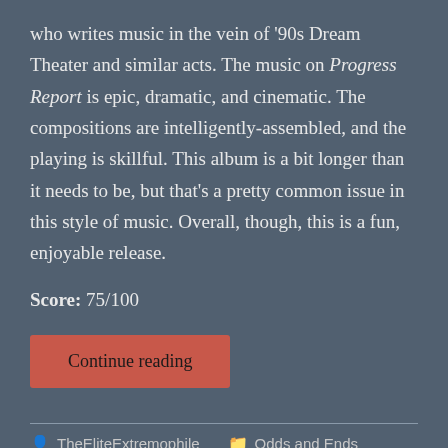who writes music in the vein of '90s Dream Theater and similar acts. The music on Progress Report is epic, dramatic, and cinematic. The compositions are intelligently-assembled, and the playing is skillful. This album is a bit longer than it needs to be, but that's a pretty common issue in this style of music. Overall, though, this is a fun, enjoyable release.
Score: 75/100
Continue reading
TheEliteExtremophile   Odds and Ends   Leave a comment   April 4, 2022   2 Minutes